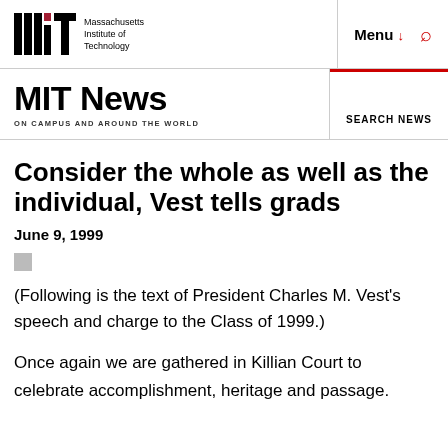Massachusetts Institute of Technology — Menu — Search
MIT News — ON CAMPUS AND AROUND THE WORLD — SEARCH NEWS
Consider the whole as well as the individual, Vest tells grads
June 9, 1999
(Following is the text of President Charles M. Vest's speech and charge to the Class of 1999.)
Once again we are gathered in Killian Court to celebrate accomplishment, heritage and passage.